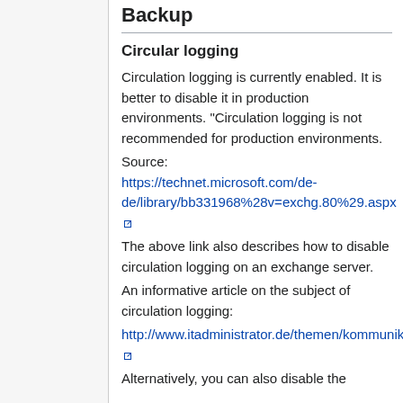Backup
Circular logging
Circulation logging is currently enabled. It is better to disable it in production environments. "Circulation logging is not recommended for production environments.
Source:
https://technet.microsoft.com/de-de/library/bb331968%28v=exchg.80%29.aspx
The above link also describes how to disable circulation logging on an exchange server.
An informative article on the subject of circulation logging:
http://www.itadministrator.de/themen/kommunikation/123111.html
Alternatively, you can also disable the